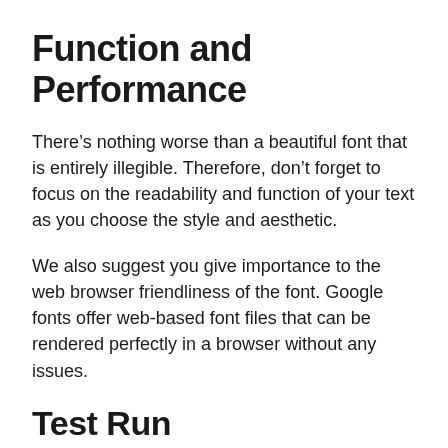Function and Performance
There’s nothing worse than a beautiful font that is entirely illegible. Therefore, don’t forget to focus on the readability and function of your text as you choose the style and aesthetic.
We also suggest you give importance to the web browser friendliness of the font. Google fonts offer web-based font files that can be rendered perfectly in a browser without any issues.
Test Run
Finally, don’t be afraid to test and